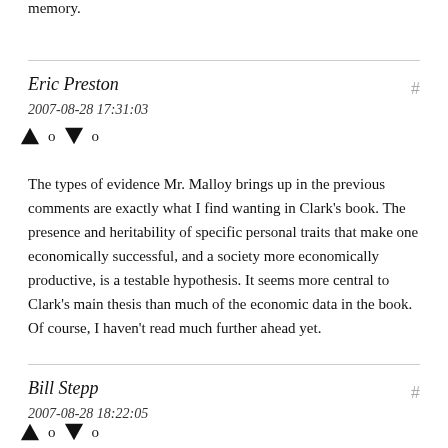memory.
Eric Preston
2007-08-28 17:31:03
↑ 0 ↓ 0
The types of evidence Mr. Malloy brings up in the previous comments are exactly what I find wanting in Clark's book. The presence and heritability of specific personal traits that make one economically successful, and a society more economically productive, is a testable hypothesis. It seems more central to Clark's main thesis than much of the economic data in the book. Of course, I haven't read much further ahead yet.
Bill Stepp
2007-08-28 18:22:05
↑ 0 ↓ 0